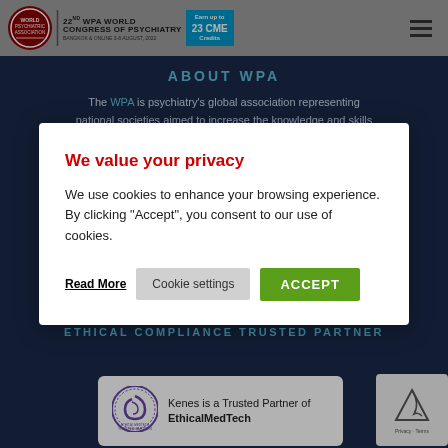22nd WPA World Congress of Psychiatry — Bangkok & Online 3-8 August, 2022 | Earn up to 23 CME Credits
ABOUT WPA
The WPA is psychiatry's global association representing national societies aimed to increase the knowledge and skills
We value your privacy
We use cookies to enhance your browsing experience. By clicking "Accept", you consent to our use of cookies.
Read More | Cookie settings | ACCEPT
ETHICAL COMPLIANCE TRUSTED PARTNER
Kenes is a Trusted Partner of EthicalMedTech
[Figure (logo): Kenes EthicalMedTech trusted partner logo and reCAPTCHA widget]